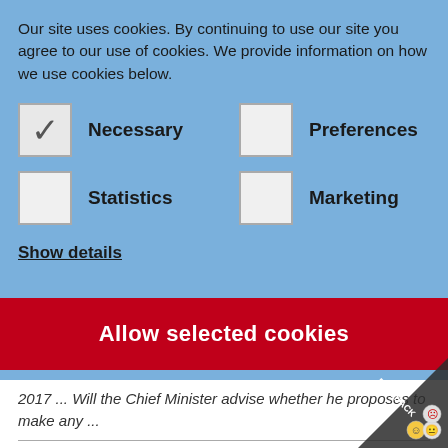Our site uses cookies. By continuing to use our site you agree to our use of cookies. We provide information on how we use cookies below.
☑ Necessary
☐ Preferences
☐ Statistics
☐ Marketing
Show details
Allow selected cookies
2017 ... Will the Chief Minister advise whether he proposes to make any ...
(265) The cost of engaging Ramsey Jones in respect of public realations advice and training relating to the Independent Je...